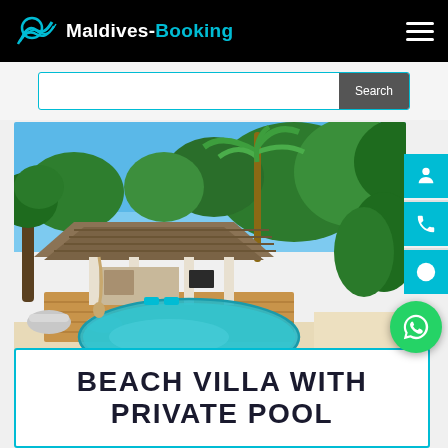Maldives-Booking
[Figure (photo): Luxury Maldives beach villa with private pool, thatched roof, wooden deck, lounge chairs, and tropical trees surrounding the property with white sand beach visible]
BEACH VILLA WITH PRIVATE POOL